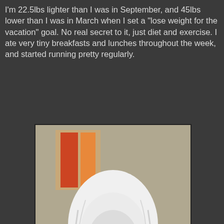I'm 22.5lbs lighter than I was in September, and 45lbs lower than I was in March when I set a "lose weight for the vacation" goal. No real secret to it, just diet and exercise. I ate very tiny breakfasts and lunches throughout the week, and started running pretty regularly.
[Figure (photo): A person wearing a white sheet or fabric draped over their head like a ghost or nun costume, with dramatic black makeup around the eyes creating a dark, dripping effect. They are seated on a dark couch. In the background is a tan/beige wall with a red and orange artwork/painting visible.]